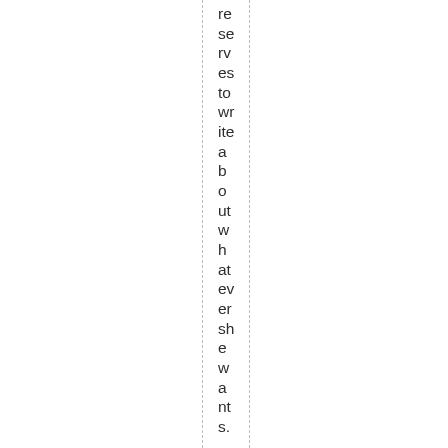reserves to write about whatever she wants.

Props to Joh